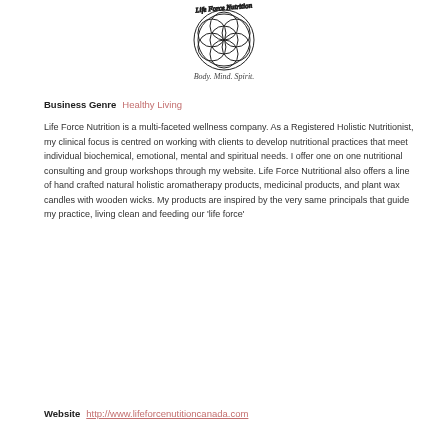[Figure (logo): Life Force Nutrition logo — overlapping circles forming a seed of life / flower of life pattern with script text 'Body. Mind. Spirit.' underneath]
Business Genre   Healthy Living
Life Force Nutrition is a multi-faceted wellness company. As a Registered Holistic Nutritionist, my clinical focus is centred on working with clients to develop nutritional practices that meet individual biochemical, emotional, mental and spiritual needs. I offer one on one nutritional consulting and group workshops through my website. Life Force Nutritional also offers a line of hand crafted natural holistic aromatherapy products, medicinal products, and plant wax candles with wooden wicks. My products are inspired by the very same principals that guide my practice, living clean and feeding our 'life force'
Website   http://www.lifeforcenutitioncanada.com